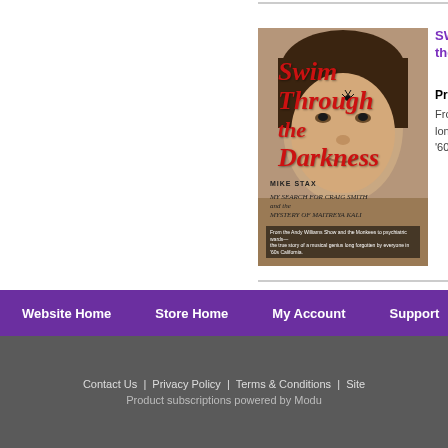[Figure (photo): Book cover of 'Swim Through the Darkness' by Mike Stax, showing a young man's face with red italic title text and subtitle 'My Search for Craig Smith and the Mystery of Maitreya Kali']
SWIM THROUGH the D...
Price: From... lone... '60s...
Showing 4 results, with 25 results per page
Website Home | Store Home | My Account | Support | View...
Contact Us | Privacy Policy | Terms & Conditions | Site... Product subscriptions powered by Modul...